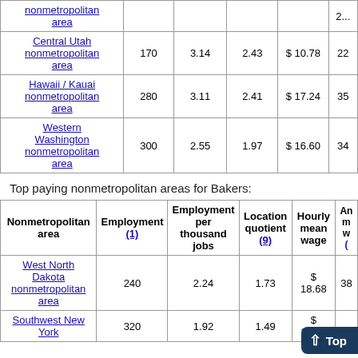| Nonmetropolitan area | Employment (1) | Employment per thousand jobs | Location quotient (9) | Hourly mean wage | An... |
| --- | --- | --- | --- | --- | --- |
| nonmetropolitan area |  |  |  |  | 2... |
| Central Utah nonmetropolitan area | 170 | 3.14 | 2.43 | $10.78 | 22... |
| Hawaii / Kauai nonmetropolitan area | 280 | 3.11 | 2.41 | $17.24 | 35... |
| Western Washington nonmetropolitan area | 300 | 2.55 | 1.97 | $16.60 | 34... |
Top paying nonmetropolitan areas for Bakers:
| Nonmetropolitan area | Employment (1) | Employment per thousand jobs | Location quotient (9) | Hourly mean wage | An... m... w... (...) |
| --- | --- | --- | --- | --- | --- |
| West North Dakota nonmetropolitan area | 240 | 2.24 | 1.73 | $18.68 | 38... |
| Southwest New York | 320 | 1.92 | 1.49 | $17.50 |  |